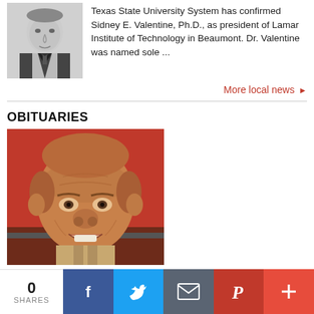[Figure (photo): Black and white headshot of a man in a suit and tie]
Texas State University System has confirmed Sidney E. Valentine, Ph.D., as president of Lamar Institute of Technology in Beaumont. Dr. Valentine was named sole ...
More local news ▶
OBITUARIES
[Figure (photo): Color photo of an elderly man with a red/orange background, smiling]
0 SHARES | Facebook | Twitter | Email | Pinterest | +